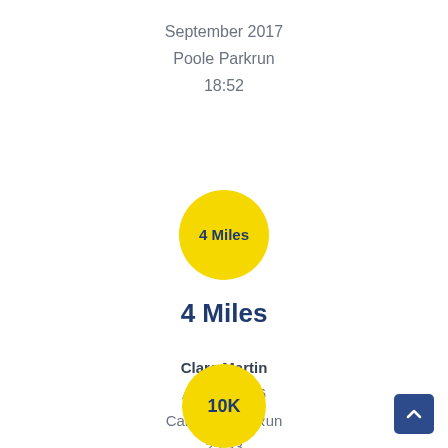September 2017
Poole Parkrun
18:52
[Figure (infographic): Yellow circle badge with text '4 Miles' in dark blue]
4 Miles
Clare Martin
August 2016
Carnival Fun Run
25:33
[Figure (infographic): Yellow circle badge partially visible at bottom with text '10K' in dark blue]